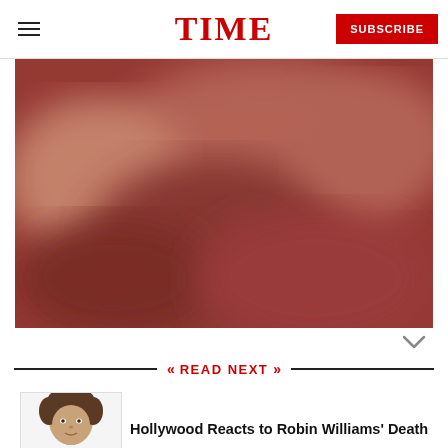TIME | SUBSCRIBE
[Figure (photo): Blurred reddish-brown background photo, partially obscured]
READ NEXT
[Figure (photo): Headshot of Robin Williams against a white background]
Hollywood Reacts to Robin Williams' Death